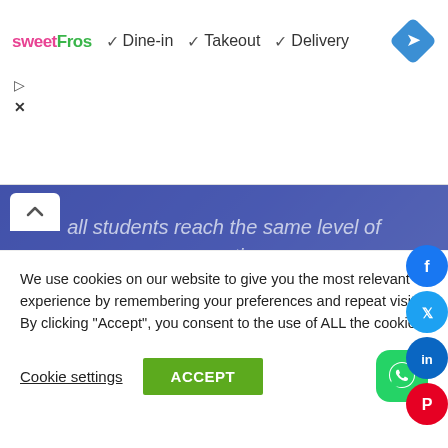[Figure (screenshot): Ad banner for sweetFrog with Dine-in, Takeout, Delivery checkmarks and navigation diamond icon]
[Figure (screenshot): Hero image with purple/blue gradient background and overlay text about students reaching expertise for hi-tech industry, with social media share buttons (Facebook, Twitter, LinkedIn, Pinterest) on the right side]
We use cookies on our website to give you the most relevant experience by remembering your preferences and repeat visits. By clicking “Accept”, you consent to the use of ALL the cookies.
Cookie settings
ACCEPT